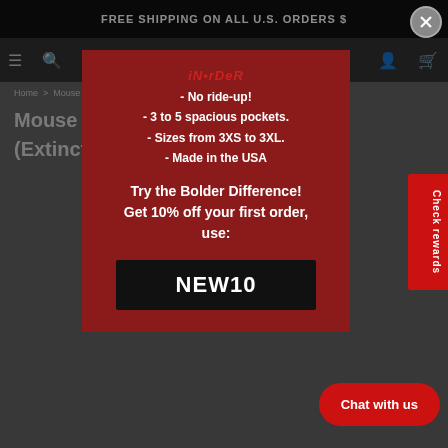FREE SHIPPING ON ALL U.S. ORDERS $
[Figure (screenshot): E-commerce website screenshot showing a product page for 'Mouse About Town Skirt (1 Style)(Extinct) - SwingStyle®' with a promotional popup modal overlay. The modal has a dark red background and displays product features and a discount coupon code.]
- No ride-up!
- 3 to 5 spacious pockets.
- Sizes from 3XS to 3XL.
- Made in the USA
Try the Bolder Difference!
Get 10% off your first order, use:
NEW10
Check rewards
Chat with us
Home > Mouse About Town Skirt (1 Style)(Extinct)
Mouse About Town Skirt (1 Style)(Extinct) - SwingStyle®